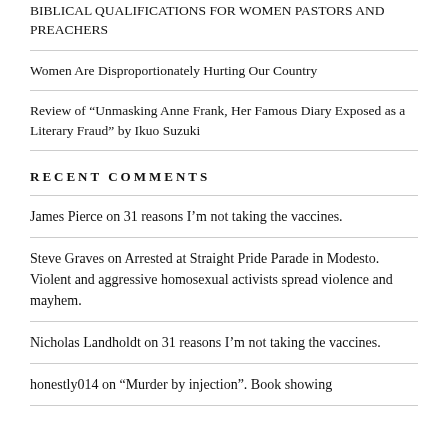BIBLICAL QUALIFICATIONS FOR WOMEN PASTORS AND PREACHERS
Women Are Disproportionately Hurting Our Country
Review of “Unmasking Anne Frank, Her Famous Diary Exposed as a Literary Fraud” by Ikuo Suzuki
RECENT COMMENTS
James Pierce on 31 reasons I’m not taking the vaccines.
Steve Graves on Arrested at Straight Pride Parade in Modesto. Violent and aggressive homosexual activists spread violence and mayhem.
Nicholas Landholdt on 31 reasons I’m not taking the vaccines.
honestly014 on “Murder by injection”. Book showing